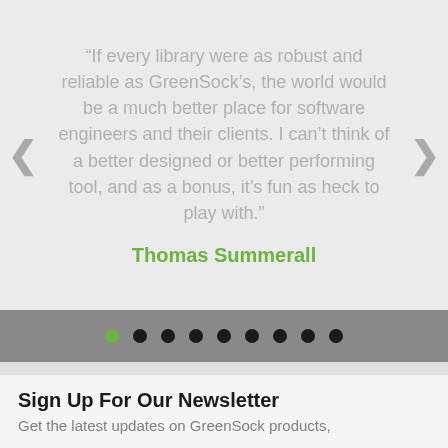“If every library were as robust and reliable as GreenSock’s, the world would be a much better place for software engineers and their clients. I can’t think of a better designed or better performing tool, and as a bonus, it’s fun as heck to play with.”
Thomas Summerall
[Figure (other): Carousel navigation dots: one green dot (active/first) followed by eight black dots on a gray background bar]
Sign Up For Our Newsletter
Get the latest updates on GreenSock products,